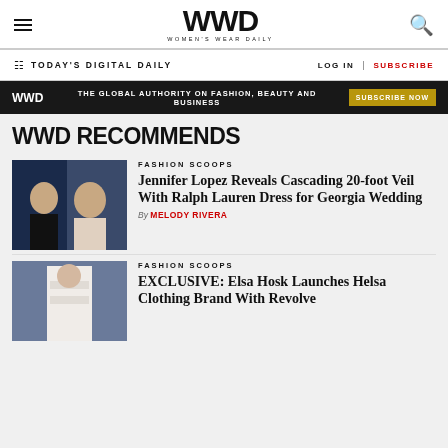WWD WOMEN'S WEAR DAILY
TODAY'S DIGITAL DAILY | LOG IN | SUBSCRIBE
WWD THE GLOBAL AUTHORITY ON FASHION, BEAUTY AND BUSINESS SUBSCRIBE NOW
WWD RECOMMENDS
FASHION SCOOPS
Jennifer Lopez Reveals Cascading 20-foot Veil With Ralph Lauren Dress for Georgia Wedding
By MELODY RIVERA
FASHION SCOOPS
EXCLUSIVE: Elsa Hosk Launches Helsa Clothing Brand With Revolve